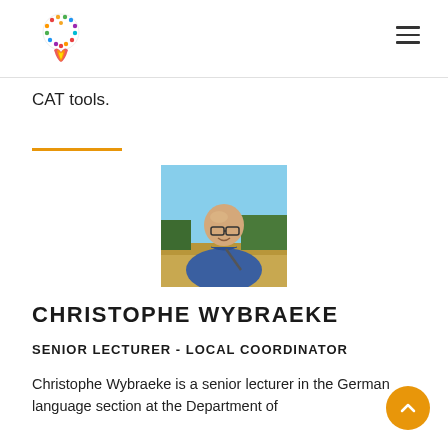[Figure (logo): Colorful circular logo with figures and flame-like shapes at the bottom]
CAT tools.
[Figure (photo): Portrait photo of Christophe Wybraeke, a bald man wearing glasses and a blue polo shirt, standing outdoors in a dry landscape with trees in background]
CHRISTOPHE WYBRAEKE
SENIOR LECTURER - LOCAL COORDINATOR
Christophe Wybraeke is a senior lecturer in the German language section at the Department of Translation, Interpreting and Communication of